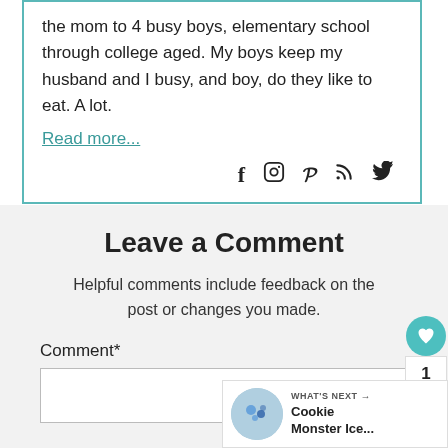the mom to 4 busy boys, elementary school through college aged. My boys keep my husband and I busy, and boy, do they like to eat. A lot. Read more...
[Figure (infographic): Social media icons: Facebook, Instagram, Pinterest, RSS, Twitter]
Leave a Comment
Helpful comments include feedback on the post or changes you made.
Comment*
[Figure (infographic): Floating buttons: heart icon with teal background, count '1', share icon]
[Figure (infographic): What's Next banner with circular food image and text: Cookie Monster Ice...]